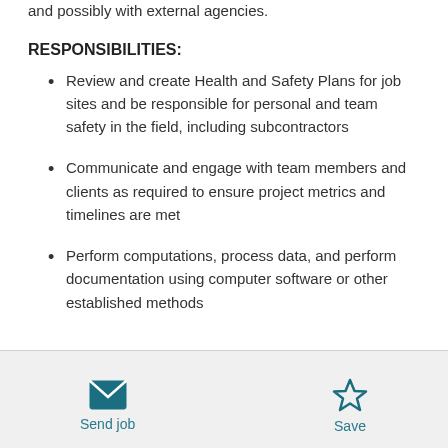and possibly with external agencies.
RESPONSIBILITIES:
Review and create Health and Safety Plans for job sites and be responsible for personal and team safety in the field, including subcontractors
Communicate and engage with team members and clients as required to ensure project metrics and timelines are met
Perform computations, process data, and perform documentation using computer software or other established methods
Send job | Save